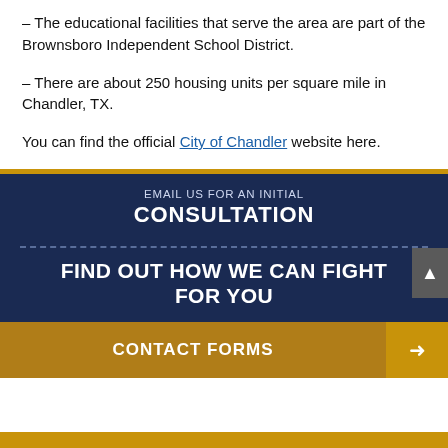– The educational facilities that serve the area are part of the Brownsboro Independent School District.
– There are about 250 housing units per square mile in Chandler, TX.
You can find the official City of Chandler website here.
[Figure (infographic): Dark navy blue banner with gold border. Top section says 'EMAIL US FOR AN INITIAL CONSULTATION'. Middle section with dashed divider says 'FIND OUT HOW WE CAN FIGHT FOR YOU'. Bottom section has gold button 'CONTACT FORMS' with arrow icon.]